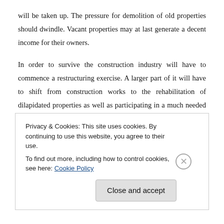will be taken up. The pressure for demolition of old properties should dwindle. Vacant properties may at last generate a decent income for their owners.
In order to survive the construction industry will have to commence a restructuring exercise. A larger part of it will have to shift from construction works to the rehabilitation of dilapidated properties as well as participating in a much needed urban regeneration. There will be a demand for skills which are not sufficiently available today. The traditional building trades will be highly in demand, slowly at first but at an increasing rate subsequently. Sufficient time is available for retraining in order that the shift causes the least pain possible in the...
Privacy & Cookies: This site uses cookies. By continuing to use this website, you agree to their use.
To find out more, including how to control cookies, see here: Cookie Policy